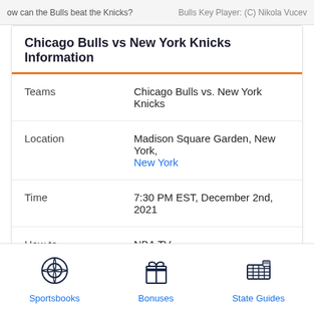ow can the Bulls beat the Knicks?   Bulls Key Player: (C) Nikola Vucev
Chicago Bulls vs New York Knicks Information
| Teams | Chicago Bulls vs. New York Knicks |
| Location | Madison Square Garden, New York, New York |
| Time | 7:30 PM EST, December 2nd, 2021 |
| How to Watch | NBA TV |
[Figure (illustration): Sportsbooks icon - soccer ball circle]
Sportsbooks
[Figure (illustration): Bonuses icon - gift box]
Bonuses
[Figure (illustration): State Guides icon - US map with flag]
State Guides